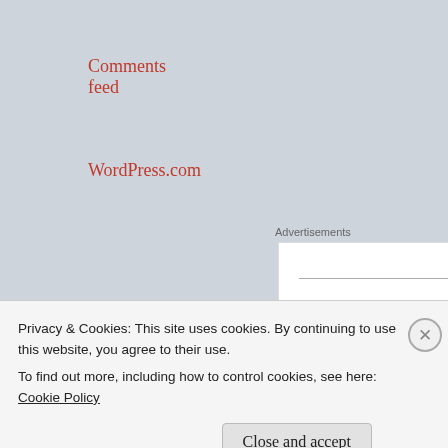Comments feed
WordPress.com
Advertisements
[Figure (logo): Automattic logo — the word AUTOMATTIC in spaced capital letters with a circular target icon replacing the letter O]
Privacy & Cookies: This site uses cookies. By continuing to use this website, you agree to their use.
To find out more, including how to control cookies, see here: Cookie Policy